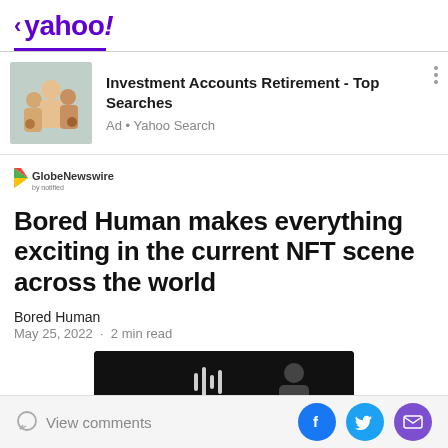< yahoo!
[Figure (photo): Advertisement banner with a family photo on the left, text 'Investment Accounts Retirement - Top Searches' and 'Ad • Yahoo Search' on the right]
[Figure (logo): GlobeNewswire by notified logo with colorful play button icon]
Bored Human makes everything exciting in the current NFT scene across the world
Bored Human
May 25, 2022  ·  2 min read
[Figure (screenshot): Black video thumbnail with audio waveform icon and playback icon]
View comments
[Figure (illustration): Social sharing icons: Facebook (blue circle with f), Twitter (light blue circle with bird), Email (purple circle with envelope)]